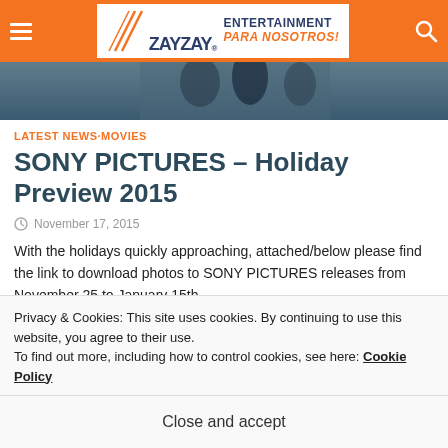ZAY ZAY. ENTERTAINMENT PARA NOSOTROS!
[Figure (photo): Partial hero image strip at top of article, showing people in dark/blue tones]
LATEST NEWS·MOVIES
SONY PICTURES – Holiday Preview 2015
November 17, 2015
With the holidays quickly approaching, attached/below please find the link to download photos to SONY PICTURES releases from November 25 to January 15th…
Privacy & Cookies: This site uses cookies. By continuing to use this website, you agree to their use.
To find out more, including how to control cookies, see here: Cookie Policy
Close and accept